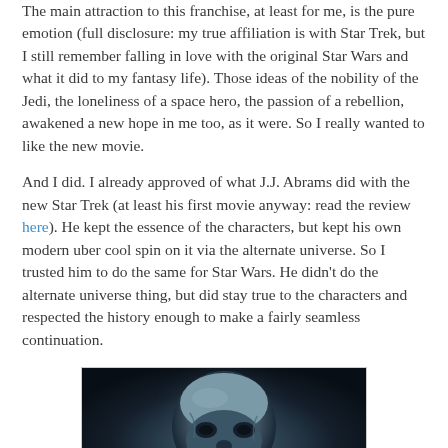The main attraction to this franchise, at least for me, is the pure emotion (full disclosure: my true affiliation is with Star Trek, but I still remember falling in love with the original Star Wars and what it did to my fantasy life). Those ideas of the nobility of the Jedi, the loneliness of a space hero, the passion of a rebellion, awakened a new hope in me too, as it were. So I really wanted to like the new movie.
And I did. I already approved of what J.J. Abrams did with the new Star Trek (at least his first movie anyway: read the review here). He kept the essence of the characters, but kept his own modern uber cool spin on it via the alternate universe. So I trusted him to do the same for Star Wars. He didn't do the alternate universe thing, but did stay true to the characters and respected the history enough to make a fairly seamless continuation.
[Figure (photo): Dark, moody photograph of what appears to be a damaged or melted helmet or mask, possibly Darth Vader's helmet, shot against a very dark background with bluish-gray tones.]